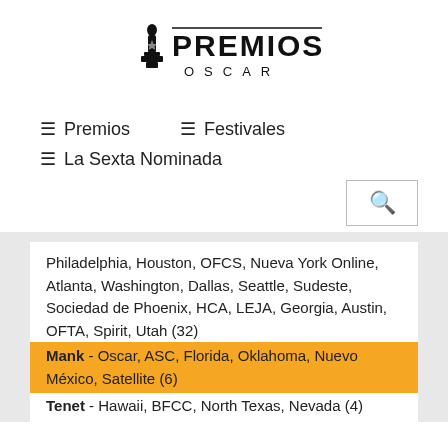[Figure (logo): Premios Oscar logo with Oscar statuette silhouette and text PREMIOS OSCAR]
≡ Premios   ≡ Festivales
≡ La Sexta Nominada
Philadelphia, Houston, OFCS, Nueva York Online, Atlanta, Washington, Dallas, Seattle, Sudeste, Sociedad de Phoenix, HCA, LEJA, Georgia, Austin, OFTA, Spirit, Utah (32)
Mank - Oscar, ASC, Florida, Oklahoma, Nuevo México, Satellite (6)
Tenet - Hawaii, BFCC, North Texas, Nevada (4)